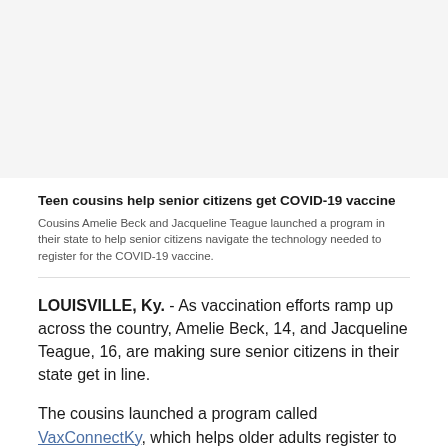[Figure (photo): Light gray placeholder area at the top of the page representing an image]
Teen cousins help senior citizens get COVID-19 vaccine
Cousins Amelie Beck and Jacqueline Teague launched a program in their state to help senior citizens navigate the technology needed to register for the COVID-19 vaccine.
LOUISVILLE, Ky. - As vaccination efforts ramp up across the country, Amelie Beck, 14, and Jacqueline Teague, 16, are making sure senior citizens in their state get in line.
The cousins launched a program called VaxConnectKy, which helps older adults register to get their COVID-19 vaccines. People can call the program, and either Beck